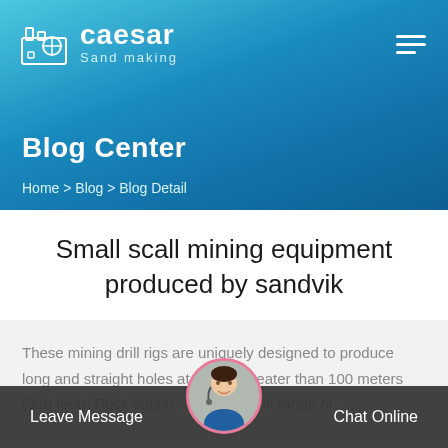[Figure (logo): Caesar Sand making logo with factory/leaf icon and brand name]
Blog Center
Home > Blog > Blog Detail
Small scall mining equipment produced by sandvik
These mining drill rigs are uniquely designed to produce long and straight holes at depths greater than 100 meters (328 feet). Rock suppo... The Sandvik range of...
Leave Message   Chat Online